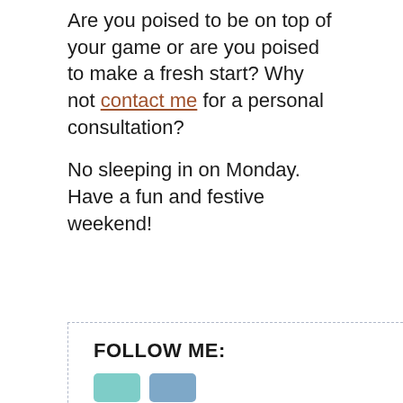Are you poised to be on top of your game or are you poised to make a fresh start? Why not contact me for a personal consultation?
No sleeping in on Monday. Have a fun and festive weekend!
FOLLOW ME:
[Figure (other): Two social media icon buttons, one teal and one blue]